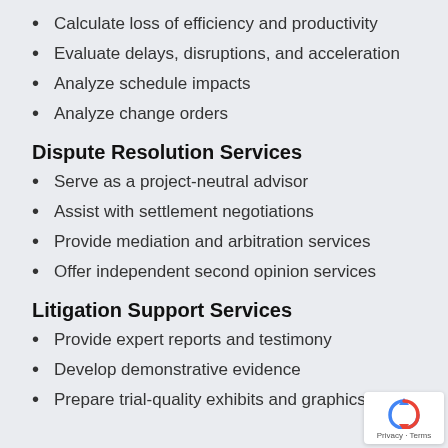Calculate loss of efficiency and productivity
Evaluate delays, disruptions, and acceleration
Analyze schedule impacts
Analyze change orders
Dispute Resolution Services
Serve as a project-neutral advisor
Assist with settlement negotiations
Provide mediation and arbitration services
Offer independent second opinion services
Litigation Support Services
Provide expert reports and testimony
Develop demonstrative evidence
Prepare trial-quality exhibits and graphics